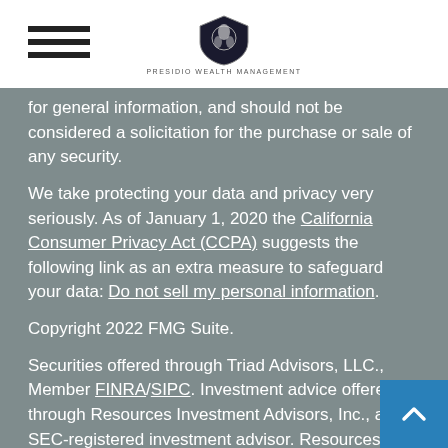Presidio Wealth Management
for general information, and should not be considered a solicitation for the purchase or sale of any security.
We take protecting your data and privacy very seriously. As of January 1, 2020 the California Consumer Privacy Act (CCPA) suggests the following link as an extra measure to safeguard your data: Do not sell my personal information.
Copyright 2022 FMG Suite.
Securities offered through Triad Advisors, LLC., Member FINRA/SIPC. Investment advice offered through Resources Investment Advisors, Inc., an SEC-registered investment advisor. Resources Investment Advisors, Inc. and Presidio Wealth Management are not affiliated with Triad Advisors.